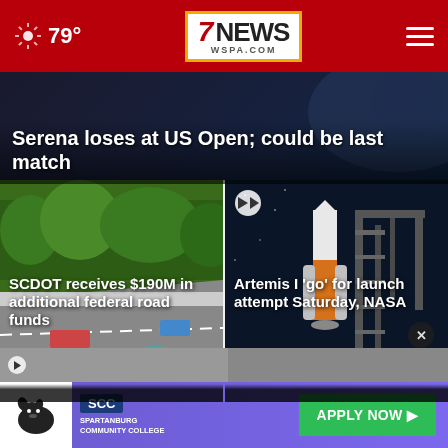79° | 7NEWS WSPA.COM
Serena loses at US Open; could be last match
[Figure (photo): Highway road scene with SCDOT infrastructure]
SCDOT receives $190M in additional federal road funds
[Figure (photo): NASA Artemis I rocket on launch pad at night]
Artemis I 'go' for launch attempt Saturday, NASA
[Figure (photo): Advertisement banner for Spartanburg Community College with Apply Now button]